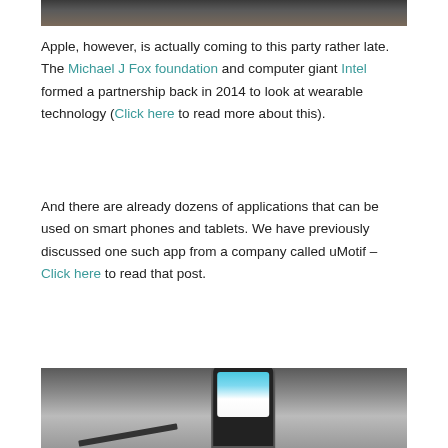[Figure (photo): Partial photo at top of page, dark tones, appears to show hands or a person]
Apple, however, is actually coming to this party rather late. The Michael J Fox foundation and computer giant Intel formed a partnership back in 2014 to look at wearable technology (Click here to read more about this).
And there are already dozens of applications that can be used on smart phones and tablets. We have previously discussed one such app from a company called uMotif – Click here to read that post.
[Figure (photo): Partial photo at bottom of page showing a smartphone on a wooden surface with a pencil nearby]